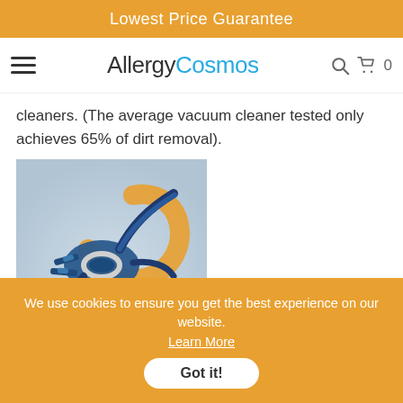Lowest Price Guarantee
[Figure (logo): AllergyCosmos logo with hamburger menu, search and cart icons in navigation bar]
cleaners. (The average vacuum cleaner tested only achieves 65% of dirt removal).
[Figure (photo): Product photo of a blue vacuum cleaner component with an orange swirl element on a light blue/grey background]
We use cookies to ensure you get the best experience on our website.
Learn More
Got it!